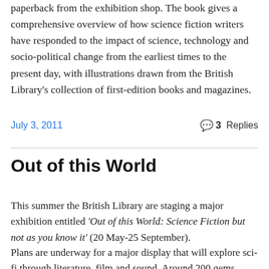paperback from the exhibition shop. The book gives a comprehensive overview of how science fiction writers have responded to the impact of science, technology and socio-political change from the earliest times to the present day, with illustrations drawn from the British Library's collection of first-edition books and magazines.
July 3, 2011    3 Replies
Out of this World
This summer the British Library are staging a major exhibition entitled 'Out of this World: Science Fiction but not as you know it' (20 May-25 September).
Plans are underway for a major display that will explore sci-fi through literature, film and sound. Around 200 gems...